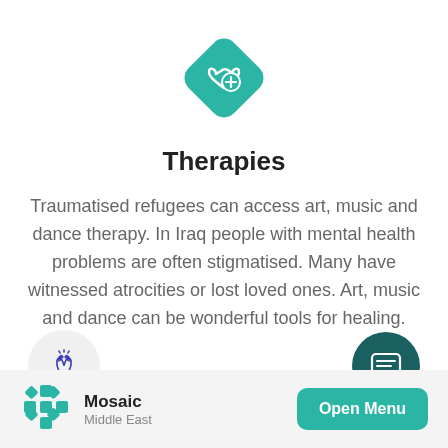[Figure (logo): Teal diamond-shaped icon with a heart and plus sign symbol]
Therapies
Traumatised refugees can access art, music and dance therapy. In Iraq people with mental health problems are often stigmatised. Many have witnessed atrocities or lost loved ones. Art, music and dance can be wonderful tools for healing.
[Figure (illustration): Praying hands icon in a light gray circle]
[Figure (illustration): Chat/message icon in a dark teal circle]
[Figure (illustration): Teal rounded shape peeking from bottom]
[Figure (logo): Mosaic Middle East logo — geometric star pattern in teal]
Mosaic Middle East — Open Menu